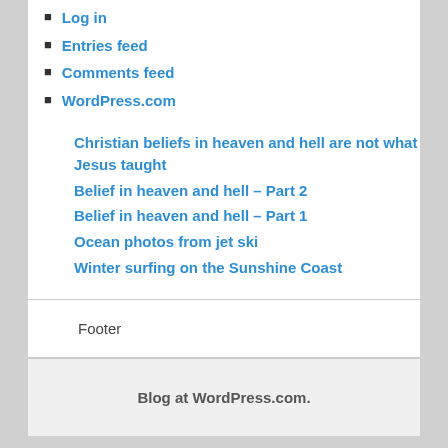Log in
Entries feed
Comments feed
WordPress.com
Christian beliefs in heaven and hell are not what Jesus taught
Belief in heaven and hell – Part 2
Belief in heaven and hell – Part 1
Ocean photos from jet ski
Winter surfing on the Sunshine Coast
Footer
Blog at WordPress.com.